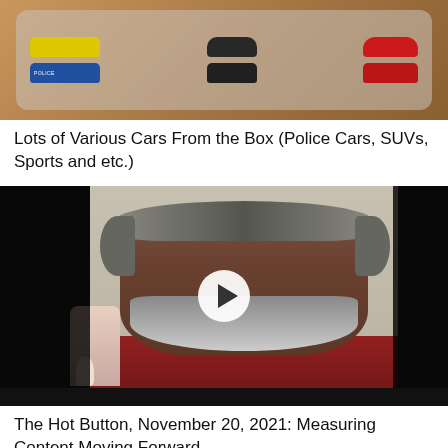[Figure (photo): Photo of miniature toy cars in a plastic box/tray, including police cars, SUVs, and sports cars in yellow, blue, black, and red colors on a wooden surface]
Lots of Various Cars From the Box (Police Cars, SUVs, Sports and etc.)
[Figure (photo): Video thumbnail of a middle-aged man with gray-streaked hair and beard wearing a red flannel shirt, with figurines visible in background. Play button overlay in center.]
The Hot Button, November 20, 2021: Measuring Content Moving Forward